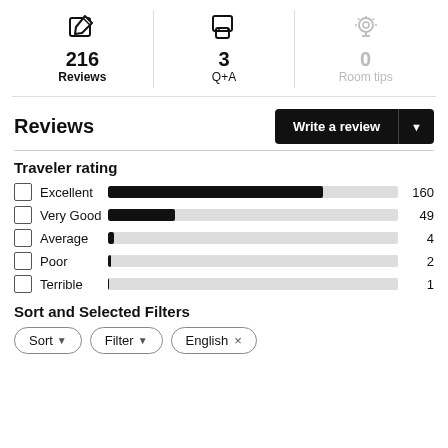216 Reviews
3 Q+A
0 Room tips
Reviews
Traveler rating
[Figure (bar-chart): Traveler rating]
Sort and Selected Filters
Sort
Filter
English ×